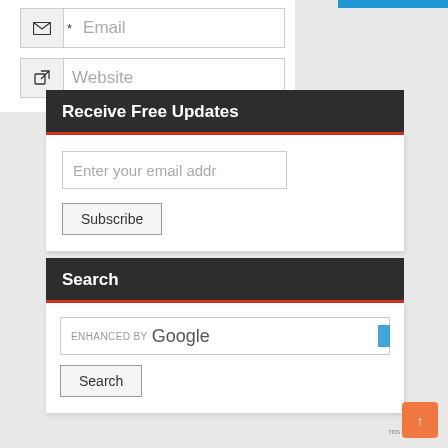[Figure (screenshot): Email input field with envelope icon and asterisk, placeholder text 'Email']
[Figure (screenshot): Website input field with external link icon, placeholder text 'Website']
Receive Free Updates
[Figure (screenshot): Email subscription form with input field showing 'Enter your email addr' and a Subscribe button]
Search
[Figure (screenshot): Search box with 'ENHANCED BY Google' text and a Search button]